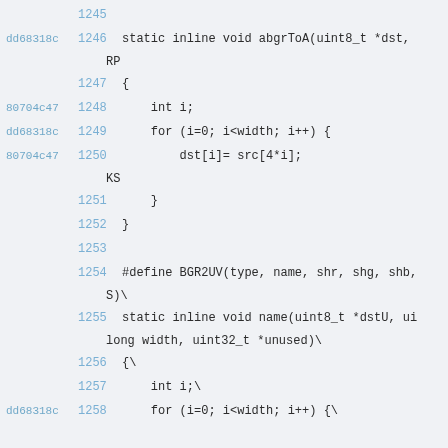1245
dd68318c 1246 static inline void abgrToA(uint8_t *dst,
RP
1247 {
80704c47 1248     int i;
dd68318c 1249     for (i=0; i<width; i++) {
80704c47 1250         dst[i]= src[4*i];
KS
1251     }
1252 }
1253
1254 #define BGR2UV(type, name, shr, shg, shb, S)\
1255 static inline void name(uint8_t *dstU, ui long width, uint32_t *unused)\
1256 {\
1257     int i;\
dd68318c 1258     for (i=0; i<width; i++) {\